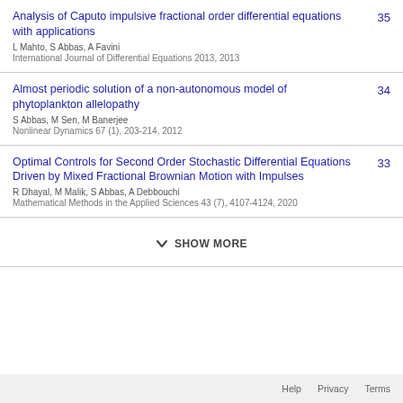Analysis of Caputo impulsive fractional order differential equations with applications
L Mahto, S Abbas, A Favini
International Journal of Differential Equations 2013, 2013
35
Almost periodic solution of a non-autonomous model of phytoplankton allelopathy
S Abbas, M Sen, M Banerjee
Nonlinear Dynamics 67 (1), 203-214, 2012
34
Optimal Controls for Second Order Stochastic Differential Equations Driven by Mixed Fractional Brownian Motion with Impulses
R Dhayal, M Malik, S Abbas, A Debbouchi
Mathematical Methods in the Applied Sciences 43 (7), 4107-4124, 2020
33
SHOW MORE
Help   Privacy   Terms